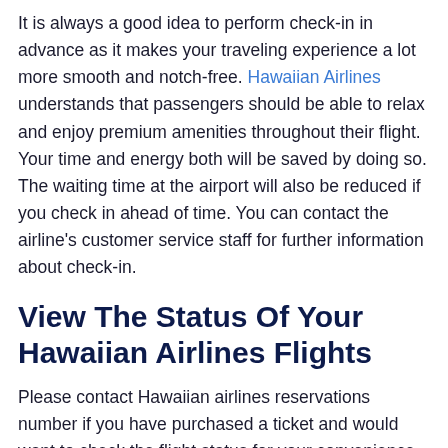It is always a good idea to perform check-in in advance as it makes your traveling experience a lot more smooth and notch-free. Hawaiian Airlines understands that passengers should be able to relax and enjoy premium amenities throughout their flight. Your time and energy both will be saved by doing so. The waiting time at the airport will also be reduced if you check in ahead of time. You can contact the airline's customer service staff for further information about check-in.
View The Status Of Your Hawaiian Airlines Flights
Please contact Hawaiian airlines reservations number if you have purchased a ticket and would want to check the flight status for your convenience. Airline on-site professionals will assist you in tracking the status of your flight. You won't need